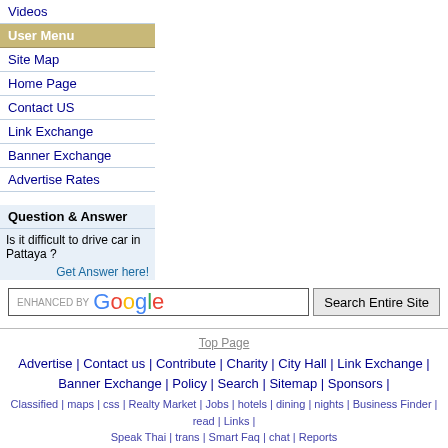Videos
User Menu
Site Map
Home Page
Contact US
Link Exchange
Banner Exchange
Advertise Rates
Question & Answer
Is it difficult to drive car in Pattaya ?
Get Answer here!
[Figure (screenshot): Google search box with 'ENHANCED BY Google' label and 'Search Entire Site' button]
Top Page | Advertise | Contact us | Contribute | Charity | City Hall | Link Exchange | Banner Exchange | Policy | Search | Sitemap | Sponsors | Classified | maps | css | Realty Market | Jobs | hotels | dining | nights | Business Finder | read | Links | Speak Thai | trans | Smart Faq | chat | Reports | 1996-2008 © PattayaCity.com ð þ Fight Spam!